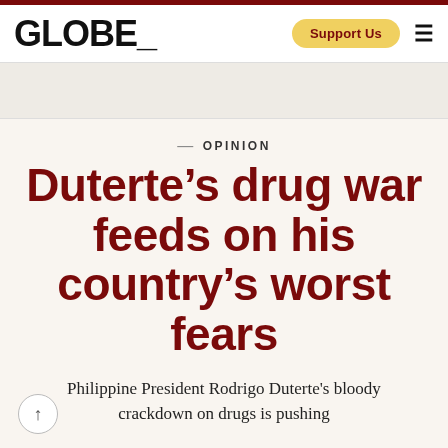GLOBE_
OPINION
Duterte’s drug war feeds on his country’s worst fears
Philippine President Rodrigo Duterte's bloody crackdown on drugs is pushing